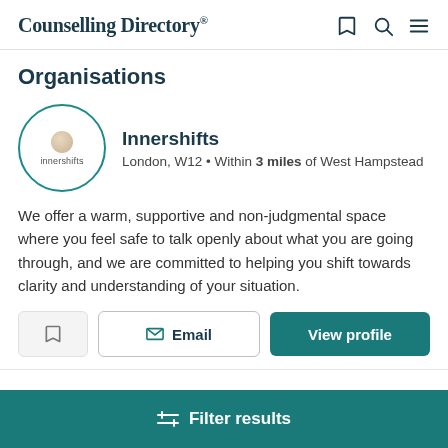Counselling Directory
Organisations
[Figure (logo): Innershifts circular logo with a small sphere and text 'innershifts' inside a teal circle border]
Innershifts
London, W12 • Within 3 miles of West Hampstead
We offer a warm, supportive and non-judgmental space where you feel safe to talk openly about what you are going through, and we are committed to helping you shift towards clarity and understanding of your situation.
Filter results